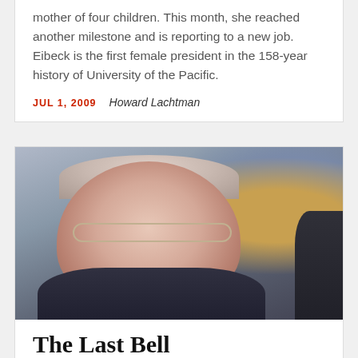mother of four children. This month, she reached another milestone and is reporting to a new job. Eibeck is the first female president in the 158-year history of University of the Pacific.
JUL 1, 2009    Howard Lachtman
[Figure (photo): Close-up portrait photograph of an older man with white/grey hair, wearing glasses and a dark jacket with a collared shirt. The background is blurred with warm and cool tones.]
The Last Bell
Chancellor Larry Vanderhoef on his tenure at UC Davis